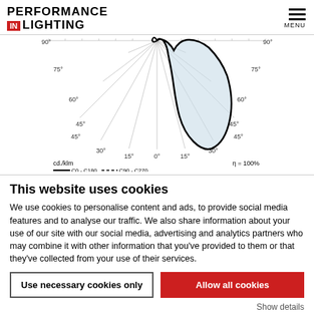PERFORMANCE IN LIGHTING | MENU
[Figure (engineering-diagram): Polar luminous intensity distribution diagram showing candela per kilolumen (cd/klm) curves for C0-C180 (solid line) and C90-C270 (dashed line). The diagram shows angular measurements from 0° at top to 90° on both sides and 45°, 30°, 15° along the bottom arc. Efficiency η = 100%. The light distribution curve shows a broad symmetric pattern.]
This website uses cookies
We use cookies to personalise content and ads, to provide social media features and to analyse our traffic. We also share information about your use of our site with our social media, advertising and analytics partners who may combine it with other information that you've provided to them or that they've collected from your use of their services.
Use necessary cookies only | Allow all cookies
Show details